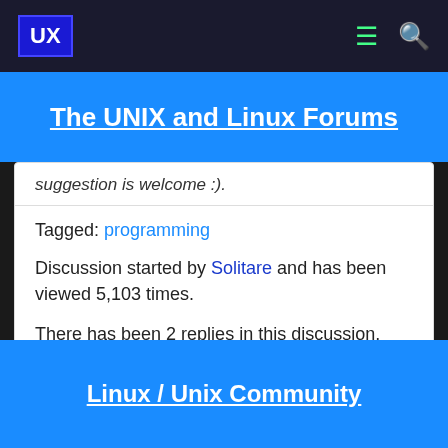UX | The UNIX and Linux Forums
suggestion is welcome :).
Tagged: programming
Discussion started by Solitare and has been viewed 5,103 times.
There has been 2 replies in this discussion.
The last reply was by S.P.Prasad.
Linux / Unix Community